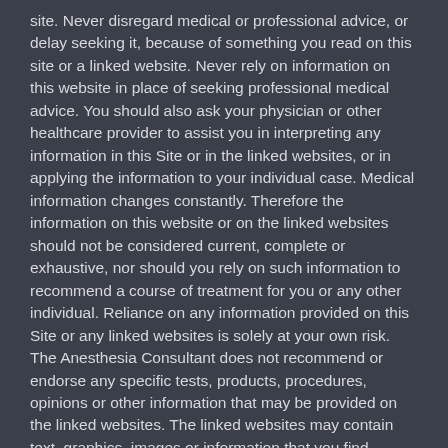site. Never disregard medical or professional advice, or delay seeking it, because of something you read on this site or a linked website. Never rely on information on this website in place of seeking professional medical advice. You should also ask your physician or other healthcare provider to assist you in interpreting any information in this Site or in the linked websites, or in applying the information to your individual case. Medical information changes constantly. Therefore the information on this website or on the linked websites should not be considered current, complete or exhaustive, nor should you rely on such information to recommend a course of treatment for you or any other individual. Reliance on any information provided on this Site or any linked websites is solely at your own risk. The Anesthesia Consultant does not recommend or endorse any specific tests, products, procedures, opinions or other information that may be provided on the linked websites. The linked websites may contain text, graphics, images or information that you find offensive (e.g., sexually explicit). The Anesthesia